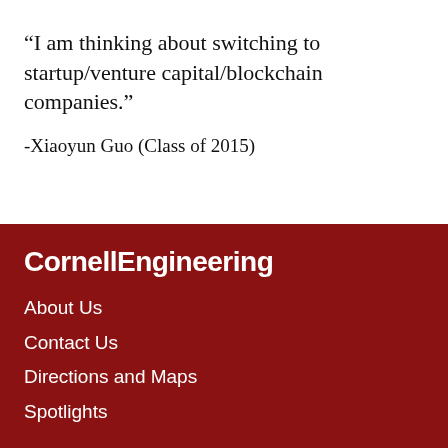“I am thinking about switching to startup/venture capital/blockchain companies.”
-Xiaoyun Guo (Class of 2015)
CornellEngineering
About Us
Contact Us
Directions and Maps
Spotlights